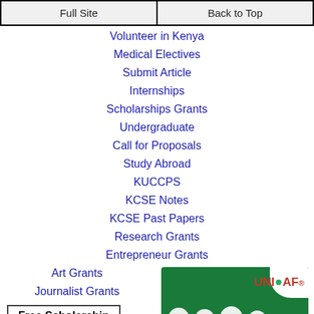Full Site | Back to Top
Volunteer in Kenya
Medical Electives
Submit Article
Internships
Scholarships Grants
Undergraduate
Call for Proposals
Study Abroad
KUCCPS
KCSE Notes
KCSE Past Papers
Research Grants
Entrepreneur Grants
Art Grants
Journalist Grants
Free Scholarship
[Figure (logo): UNICAF logo on green background with white dots]